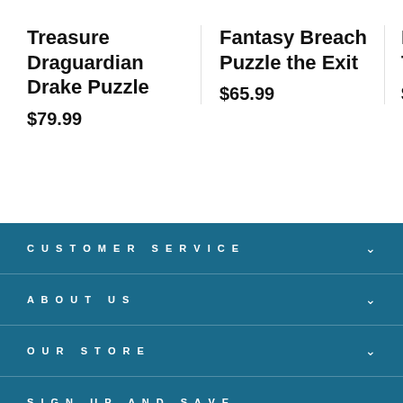Treasure Draguardian Drake Puzzle
$79.99
Fantasy Breach Puzzle the Exit
$65.99
Dreamy It Town Puz
$47.99
CUSTOMER SERVICE
ABOUT US
OUR STORE
SIGN UP AND SAVE
[Figure (other): Payment method icons: AMEX, Apple Pay, Diners, Discover, Meta, Google Pay, Mastercard, PayPal, Venmo, Visa]